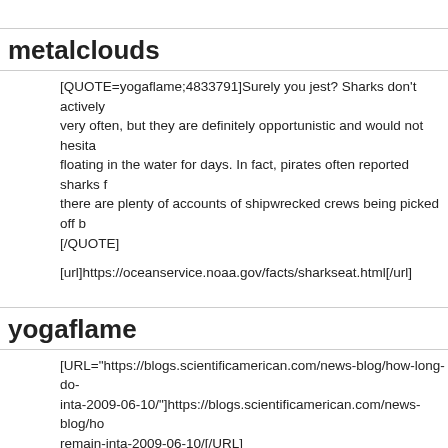metalclouds
[QUOTE=yogaflame;4833791]Surely you jest? Sharks don't actively hunt humans very often, but they are definitely opportunistic and would not hesitate to eat something floating in the water for days. In fact, pirates often reported sharks following ships and there are plenty of accounts of shipwrecked crews being picked off by sharks. [/QUOTE]
[url]https://oceanservice.noaa.gov/facts/sharkseat.html[/url]
yogaflame
[URL="https://blogs.scientificamerican.com/news-blog/how-long-do-remain-inta-2009-06-10/"]https://blogs.scientificamerican.com/news-blog/how-long-do-remain-inta-2009-06-10/[/URL]
"Of course, [B]sharks are an important scavenger in warm waters[/B] like off Brazil[or off of Madripoor, for example], and can quickly reduce a body... like any predator, are opportunistic feeders, and they'll take advantage of any opportunity given to them," says George Burgess, director of the Florida Program for Shark Research at the Florida Museum of Natural History in Gainesville and the curator of the International Shark Attack File."